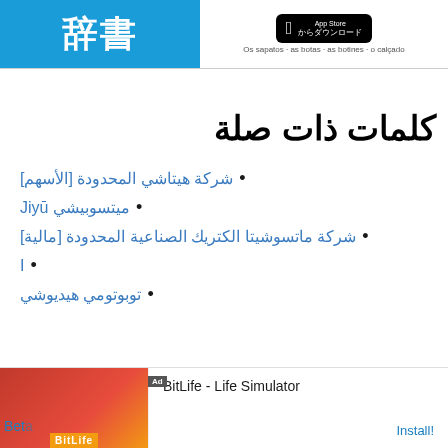[Figure (illustration): Top banner with Japanese kanji characters '辞書' on blue background on the left, and App Store download button on the right with Japanese text 'からダウンロード']
كلمات ذات صلة
شركة هيتاشي المحدودة [الأسهم]
ميتسوبيشي Jiyū
شركة ماتسوشيتا الكتريك الصناعية المحدودة [مالية]
I
توبوتومي هيديوشي
لغات اخرى
[Figure (screenshot): Advertisement banner at bottom: BitLife - Life Simulator app ad with Install button, 'Ad' label visible]